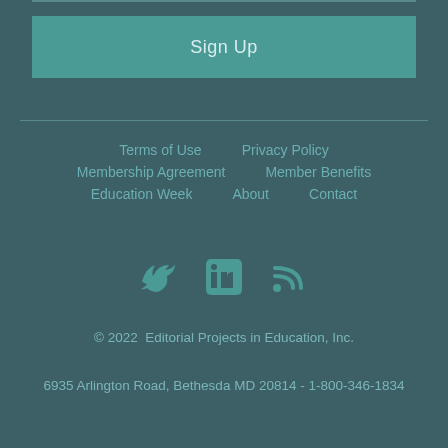Sign Up
Terms of Use   Privacy Policy   Membership Agreement   Member Benefits   Education Week   About   Contact
[Figure (other): Social media icons: Twitter, LinkedIn, RSS feed]
© 2022  Editorial Projects in Education, Inc.
6935 Arlington Road, Bethesda MD 20814 - 1-800-346-1834